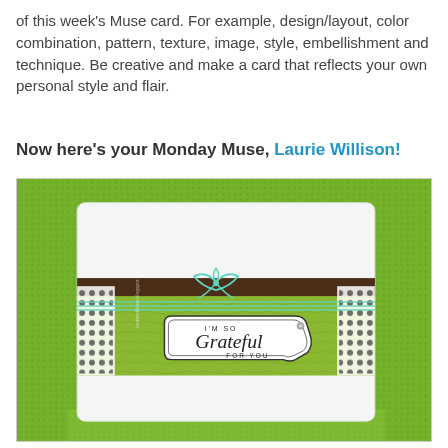of this week's Muse card. For example, design/layout, color combination, pattern, texture, image, style, embellishment and technique. Be creative and make a card that reflects your own personal style and flair.
Now here's your Monday Muse, Laurie Willison!
[Figure (photo): A handmade greeting card photographed on a green textured background. The card is white with a green patterned paper strip, a brown scalloped border, a mint/teal twine bow, polka dot washi tape on sides, and a decorative label reading 'I'M SO Grateful FOR YOU'.]